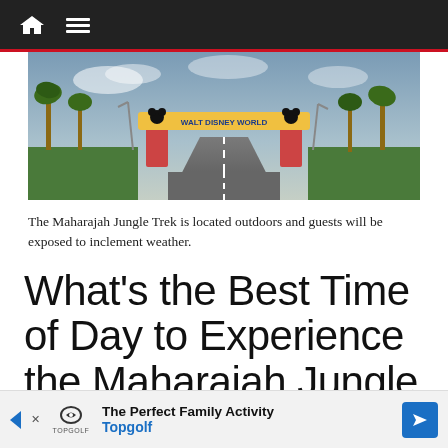Navigation bar with home and menu icons
[Figure (photo): The entrance arch to Walt Disney World as seen from the road, with palm trees on both sides, Mickey Mouse figures on the pillars, and a blue sky with clouds in the background.]
The Maharajah Jungle Trek is located outdoors and guests will be exposed to inclement weather.
What's the Best Time of Day to Experience the Maharajah Jungle Trek?